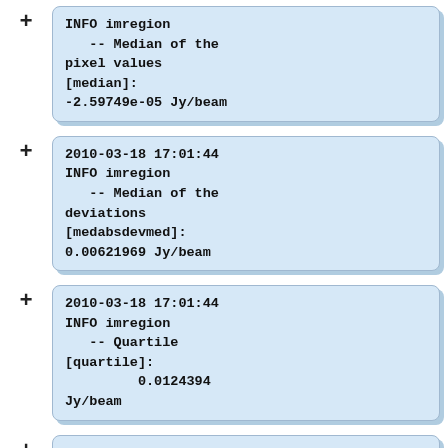INFO imregion
   -- Median of the pixel values [median]:
-2.59749e-05 Jy/beam
2010-03-18 17:01:44 INFO imregion
   -- Median of the deviations [medabsdevmed]:
0.00621969 Jy/beam
2010-03-18 17:01:44 INFO imregion
   -- Quartile [quartile]:
        0.0124394 Jy/beam
2010-03-18 17:01:44 INFO    imstat::::casa